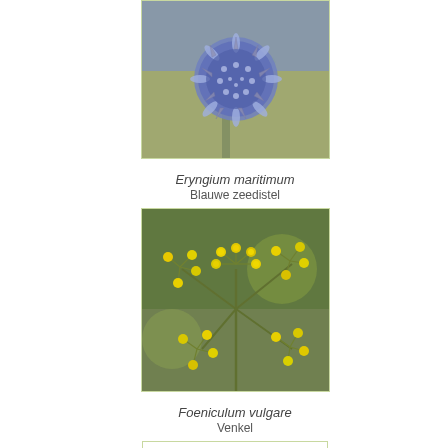[Figure (photo): Close-up photo of Eryngium maritimum (sea holly) showing a blue spiky spherical flower head with thistle-like bracts]
Eryngium maritimum
Blauwe zeedistel
[Figure (photo): Close-up photo of Foeniculum vulgare (fennel) showing clusters of small yellow umbel flowers on green stems]
Foeniculum vulgare
Venkel
[Figure (illustration): Araceae family heading box with green italic text on white background with light green border]